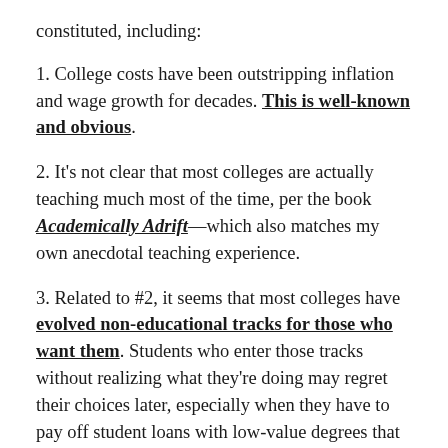constituted, including:
1. College costs have been outstripping inflation and wage growth for decades. This is well-known and obvious.
2. It's not clear that most colleges are actually teaching much most of the time, per the book Academically Adrift—which also matches my own anecdotal teaching experience.
3. Related to #2, it seems that most colleges have evolved non-educational tracks for those who want them. Students who enter those tracks without realizing what they're doing may regret their choices later, especially when they have to pay off student loans with low-value degrees that do little to build human capital.
4. See Bryan Caplan's book The Case Against